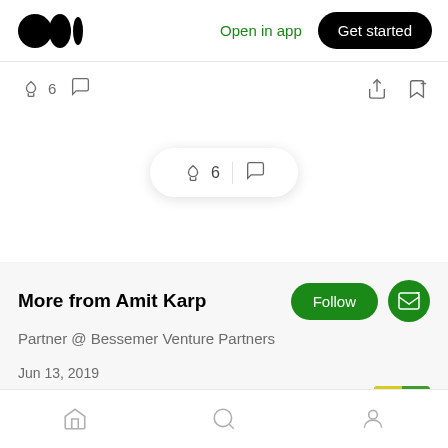[Figure (logo): Medium logo - three black circles/dots]
Open in app
Get started
👏 6  💬
👏 6 | 💬
More from Amit Karp
Follow
Partner @ Bessemer Venture Partners
Jun 13, 2019
The Endpoint Security market is a land grab